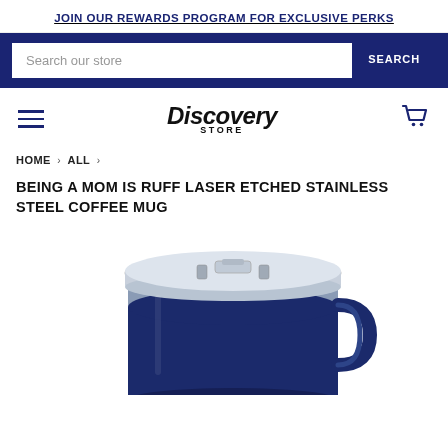JOIN OUR REWARDS PROGRAM FOR EXCLUSIVE PERKS
Search our store
[Figure (logo): Discovery Store logo with cart icon and hamburger menu]
HOME › ALL ›
BEING A MOM IS RUFF LASER ETCHED STAINLESS STEEL COFFEE MUG
[Figure (photo): Navy blue stainless steel coffee mug with clear lid, partially visible, shown from above at an angle]